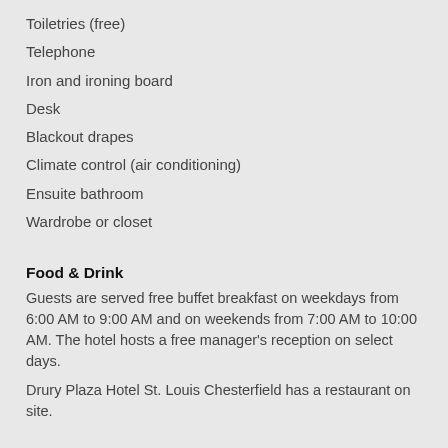Toiletries (free)
Telephone
Iron and ironing board
Desk
Blackout drapes
Climate control (air conditioning)
Ensuite bathroom
Wardrobe or closet
Food & Drink
Guests are served free buffet breakfast on weekdays from 6:00 AM to 9:00 AM and on weekends from 7:00 AM to 10:00 AM. The hotel hosts a free manager's reception on select days.
Drury Plaza Hotel St. Louis Chesterfield has a restaurant on site.
Nearby Activities
An indoor pool, an outdoor pool, and a spa tub are on site. Other recreational amenities include a fitness center.